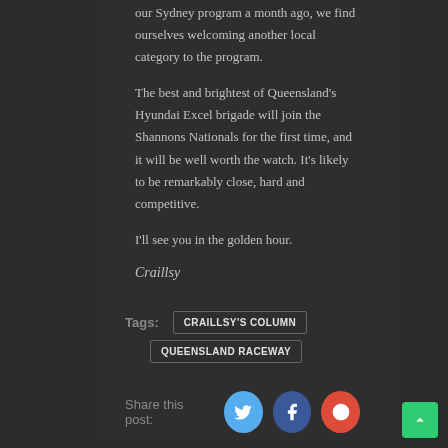our Sydney program a month ago, we find ourselves welcoming another local category to the program.
The best and brightest of Queensland's Hyundai Excel brigade will join the Shannons Nationals for the first time, and it will be well worth the watch. It's likely to be remarkably close, hard and competitive.
I'll see you in the golden hour.
Craillsy
Tags: CRAILLSY'S COLUMN  QUEENSLAND RACEWAY
Share this post: